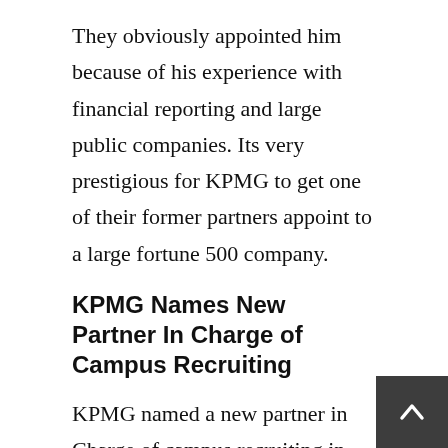They obviously appointed him because of his experience with financial reporting and large public companies. Its very prestigious for KPMG to get one of their former partners appoint to a large fortune 500 company.
KPMG Names New Partner In Charge of Campus Recruiting
KPMG named a new partner in Charge of campus recruiting in the United States. His name is James Powell. If you